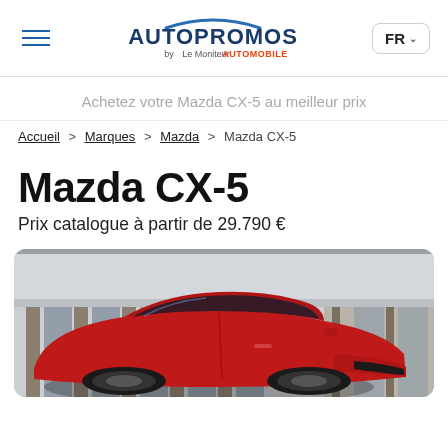AUTOPROMOS by Le Moniteur AUTOMOBILE — FR
Achetez votre Mazda CX-5 au meilleur prix
Accueil > Marques > Mazda > Mazda CX-5
Mazda CX-5
Prix catalogue à partir de 29.790 €
[Figure (photo): Red Mazda CX-5 SUV parked in front of a modern building with glass panels and concrete facade]